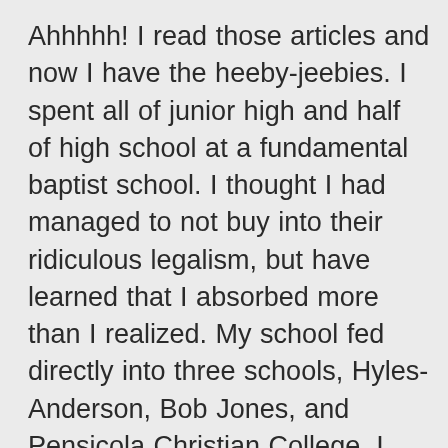Ahhhhh! I read those articles and now I have the heeby-jeebies. I spent all of junior high and half of high school at a fundamental baptist school. I thought I had managed to not buy into their ridiculous legalism, but have learned that I absorbed more than I realized. My school fed directly into three schools, Hyles-Anderson, Bob Jones, and Pensicola Christian College. I heard sermons from some of the pastors mentioned in that article first hand. I kind of feel like I have ants crawling all over my skin. Their view of a woman's